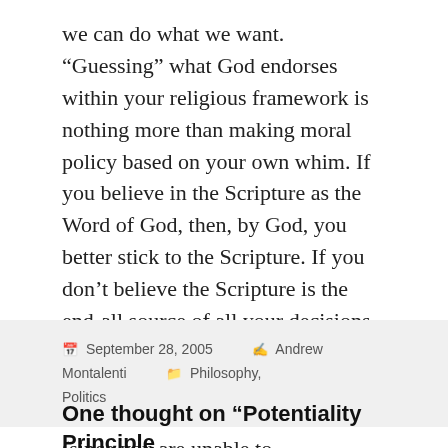we can do what we want. “Guessing” what God endorses within your religious framework is nothing more than making moral policy based on your own whim. If you believe in the Scripture as the Word of God, then, by God, you better stick to the Scripture. If you don’t believe the Scripture is the end-all source of all your decisions, then you better not speak about God’s will, because you obviously haven’t an idea what God’s will is (since you are unable to communicate with him or witness any of his actions), and so you’re making it up.
September 28, 2005 • Andrew Montalenti • Philosophy, Politics
One thought on “Potentiality Principle